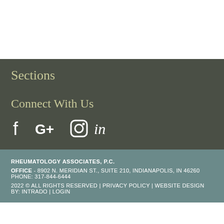Sections
Connect With Us
[Figure (illustration): Social media icons: Facebook, Google+, Instagram, LinkedIn]
RHEUMATOLOGY ASSOCIATES, P.C.
OFFICE - 8902 N. MERIDIAN ST., SUITE 210, INDIANAPOLIS, IN 46260 PHONE: 317-844-6444
2022 © ALL RIGHTS RESERVED | PRIVACY POLICY | WEBSITE DESIGN BY: INTRADO | LOGIN